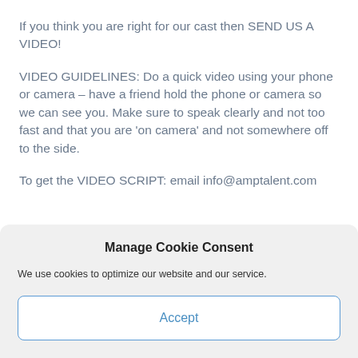If you think you are right for our cast then SEND US A VIDEO!
VIDEO GUIDELINES: Do a quick video using your phone or camera – have a friend hold the phone or camera so we can see you. Make sure to speak clearly and not too fast and that you are 'on camera' and not somewhere off to the side.
To get the VIDEO SCRIPT: email info@amptalent.com
Manage Cookie Consent
We use cookies to optimize our website and our service.
Accept